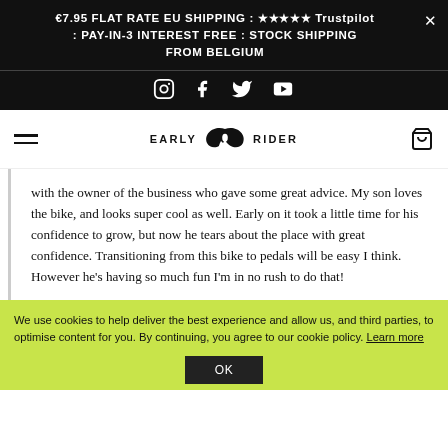€7.95 FLAT RATE EU SHIPPING : ★★★★★ Trustpilot : PAY-IN-3 INTEREST FREE : STOCK SHIPPING FROM BELGIUM
[Figure (other): Social media icons: Instagram, Facebook, Twitter, YouTube]
[Figure (logo): Early Rider logo with bird/wing icon and text EARLY RIDER]
with the owner of the business who gave some great advice. My son loves the bike, and looks super cool as well. Early on it took a little time for his confidence to grow, but now he tears about the place with great confidence. Transitioning from this bike to pedals will be easy I think. However he's having so much fun I'm in no rush to do that!
We use cookies to help deliver the best experience and allow us, and third parties, to optimise content for you. By continuing, you agree to our cookie policy. Learn more